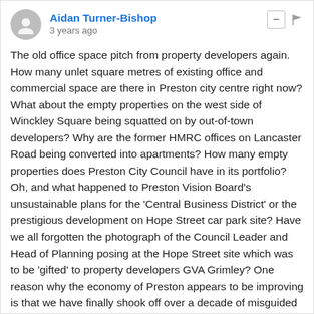Aidan Turner-Bishop — 3 years ago
The old office space pitch from property developers again. How many unlet square metres of existing office and commercial space are there in Preston city centre right now? What about the empty properties on the west side of Winckley Square being squatted on by out-of-town developers? Why are the former HMRC offices on Lancaster Road being converted into apartments? How many empty properties does Preston City Council have in its portfolio? Oh, and what happened to Preston Vision Board's unsustainable plans for the 'Central Business District' or the prestigious development on Hope Street car park site? Have we all forgotten the photograph of the Council Leader and Head of Planning posing at the Hope Street site which was to be 'gifted' to property developers GVA Grimley? One reason why the economy of Preston appears to be improving is that we have finally shook off over a decade of misguided and hubristic Tithebarn blight. But can you imagine any councillor or officer admitting that Tithebarn was an economic disaster for Preston, let alone apologise for the mess?